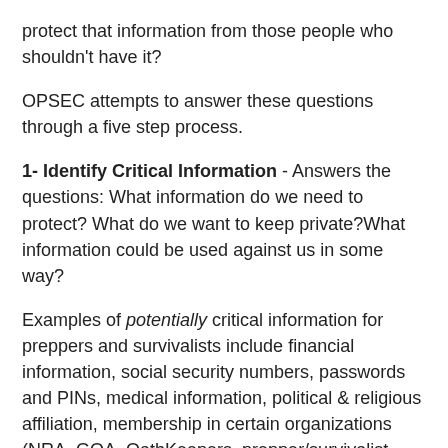protect that information from those people who shouldn't have it?
OPSEC attempts to answer these questions through a five step process.
1- Identify Critical Information - Answers the questions: What information do we need to protect? What do we want to keep private?What information could be used against us in some way?
Examples of potentially critical information for preppers and survivalists include financial information, social security numbers, passwords and PINs, medical information, political & religious affiliation, membership in certain organizations (NRA, GOA, OathKeepers, prepper/survivalist groups, tea party groups, etc.), gun ownership, presence of valuable items in the home (guns, gold, silver, cash,